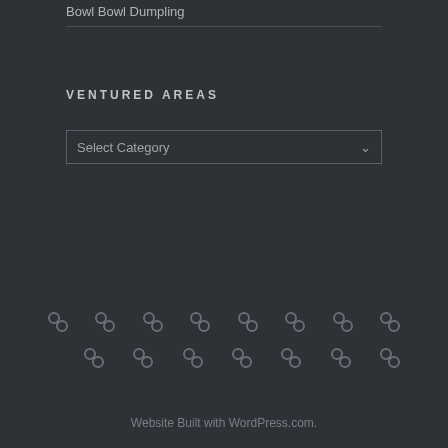Bowl Bowl Dumpling
VENTURED AREAS
[Figure (other): Select Category dropdown widget]
[Figure (other): Grid of social/link chain icons arranged in two rows]
Website Built with WordPress.com.